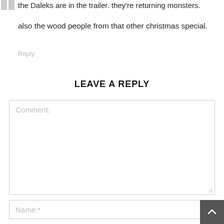the Daleks are in the trailer. they're returning monsters.
also the wood people from that other christmas special.
Reply
LEAVE A REPLY
Comment:
Name:*